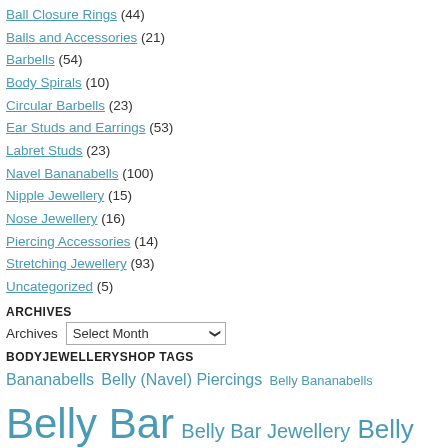Ball Closure Rings (44)
Balls and Accessories (21)
Barbells (54)
Body Spirals (10)
Circular Barbells (23)
Ear Studs and Earrings (53)
Labret Studs (23)
Navel Bananabells (100)
Nipple Jewellery (15)
Nose Jewellery (16)
Piercing Accessories (14)
Stretching Jewellery (93)
Uncategorized (5)
ARCHIVES
Archives  Select Month
BODYJEWELLERYSHOP TAGS
Bananabells Belly (Navel) Piercings Belly Bananabells Belly Bar Belly Bar Jewellery Belly Bars Belly Button Bars Belly Piercing Belly Ring Belly Rings BioFlex Piercing Jewellery Body Jewellery Body Piercing Care color contact lenses colour contact lenses Coloured Contact Lens Coloured Contact Lenses Coloured Contacts Coloured Lenses Contact Lens contact lenses Costume Contact Lenses Cute Belly Bars Ear Piercing Earrings Ear Piercing Jewellery Ear Piercings Earrings Ear Stretching Ear Stretching Guide 101 Ear Stretching Jewellery Fake Body Jewellery Flesh